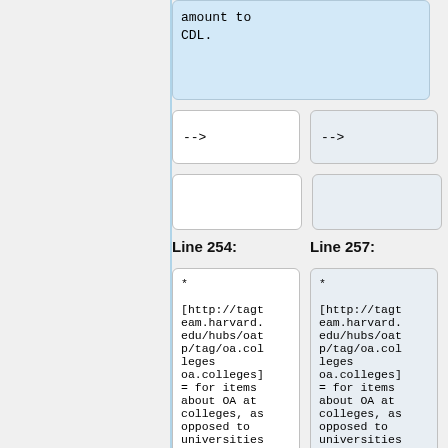amount to CDL.
-->
-->
Line 254:
Line 257:
* [http://tagteam.harvard.edu/hubs/oatp/tag/oa.colleges oa.colleges] = for items about OA at colleges, as opposed to universities and other kinds of
* [http://tagteam.harvard.edu/hubs/oatp/tag/oa.colleges oa.colleges] = for items about OA at colleges, as opposed to universities and other kinds of